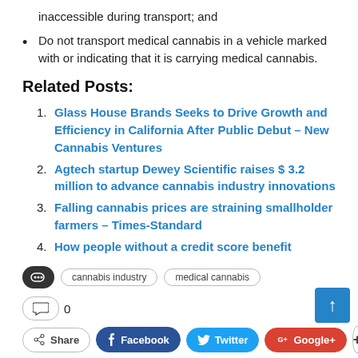inaccessible during transport; and
Do not transport medical cannabis in a vehicle marked with or indicating that it is carrying medical cannabis.
Related Posts:
Glass House Brands Seeks to Drive Growth and Efficiency in California After Public Debut – New Cannabis Ventures
Agtech startup Dewey Scientific raises $ 3.2 million to advance cannabis industry innovations
Falling cannabis prices are straining smallholder farmers – Times-Standard
How people without a credit score benefit
cannabis industry  medical cannabis
0
Share  Facebook  Twitter  Google+